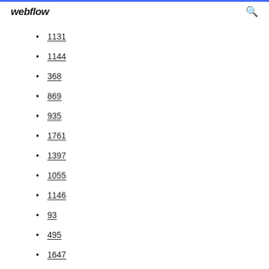webflow
1131
1144
368
869
935
1761
1397
1055
1146
93
495
1647